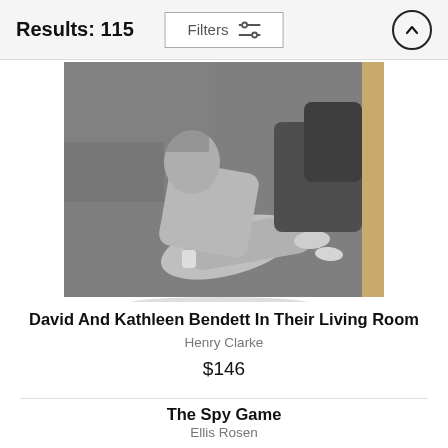Results: 115
Filters
[Figure (photo): Black and white photo of two people (David and Kathleen Bendett) relaxing on the floor of their living room, mounted on a wood block panel with visible wooden edge on the right side.]
David And Kathleen Bendett In Their Living Room
Henry Clarke
$146
The Spy Game
Ellis Rosen
$146